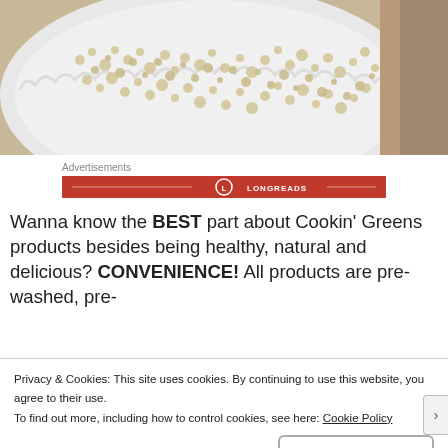[Figure (photo): Close-up photo of cooked quinoa in a white ruffled plate, with brown background visible]
Advertisements
[Figure (logo): Longreads advertisement banner in red with white logo and text LONGREADS]
Wanna know the BEST part about Cookin’ Greens products besides being healthy, natural and delicious? CONVENIENCE! All products are pre-washed, pre-
Privacy & Cookies: This site uses cookies. By continuing to use this website, you agree to their use.
To find out more, including how to control cookies, see here: Cookie Policy
Close and accept